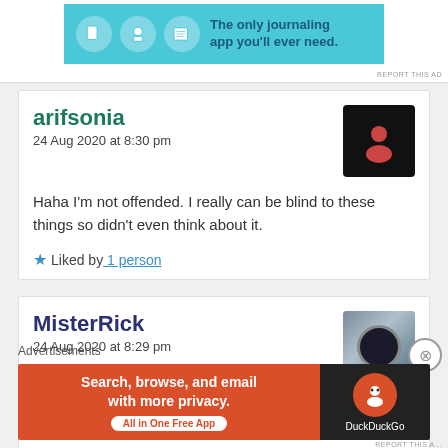[Figure (screenshot): Top advertisement banner for a journaling app with cyan background, icons and text 'The only journaling app you'll ever need.']
arifsonia
24 Aug 2020 at 8:30 pm
Haha I'm not offended. I really can be blind to these things so didn't even think about it.
Liked by 1 person
MisterRick
24 Aug 2020 at 8:29 pm
Lol...Im sure thats what I I terpreted from her comments, but doesnt matter. If I offended then I shall apologize
Advertisements
[Figure (screenshot): DuckDuckGo advertisement banner: 'Search, browse, and email with more privacy. All in One Free App' with DuckDuckGo logo on dark background.]